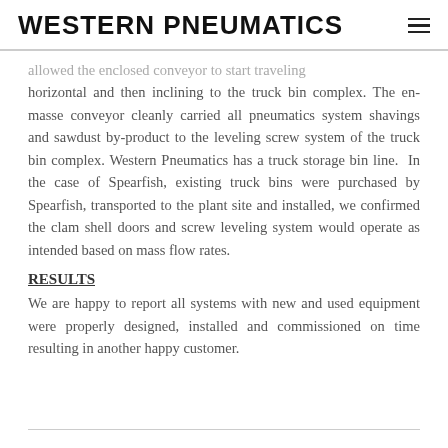WESTERN PNEUMATICS
allowed the enclosed conveyor to start traveling horizontal and then inclining to the truck bin complex. The en-masse conveyor cleanly carried all pneumatics system shavings and sawdust by-product to the leveling screw system of the truck bin complex. Western Pneumatics has a truck storage bin line. In the case of Spearfish, existing truck bins were purchased by Spearfish, transported to the plant site and installed, we confirmed the clam shell doors and screw leveling system would operate as intended based on mass flow rates.
RESULTS
We are happy to report all systems with new and used equipment were properly designed, installed and commissioned on time resulting in another happy customer.